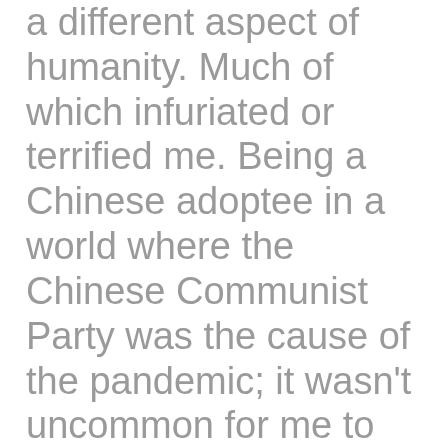a different aspect of humanity. Much of which infuriated or terrified me. Being a Chinese adoptee in a world where the Chinese Communist Party was the cause of the pandemic; it wasn't uncommon for me to receive odd stares or unusual comments from unsettled people in grocery stores. Who believed solely on race that I carried the virus. The fear of going out and experiencing that racial targeting...